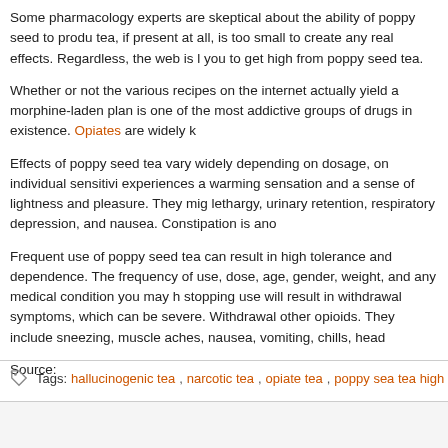Some pharmacology experts are skeptical about the ability of poppy seed to produ tea, if present at all, is too small to create any real effects. Regardless, the web is l you to get high from poppy seed tea.
Whether or not the various recipes on the internet actually yield a morphine-laden plan is one of the most addictive groups of drugs in existence. Opiates are widely k
Effects of poppy seed tea vary widely depending on dosage, on individual sensitivi experiences a warming sensation and a sense of lightness and pleasure. They mig lethargy, urinary retention, respiratory depression, and nausea. Constipation is ano
Frequent use of poppy seed tea can result in high tolerance and dependence. The frequency of use, dose, age, gender, weight, and any medical condition you may h stopping use will result in withdrawal symptoms, which can be severe. Withdrawal other opioids. They include sneezing, muscle aches, nausea, vomiting, chills, head
Source:
http://abcnews.go.com/Health/PainManagement/story?id=4132469&page=1
Tags: hallucinogenic tea, narcotic tea, opiate tea, poppy sea tea high, Poppy Se